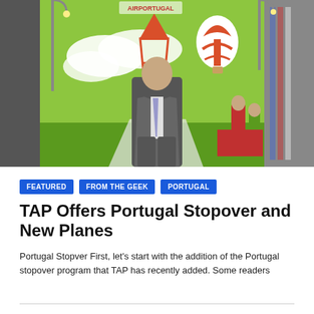[Figure (photo): A man in a grey suit and tie standing in front of a colorful mural featuring the Eiffel Tower, a hot air balloon, and green landscape on what appears to be an airplane or large vehicle. Other people are visible in the background near a red table.]
FEATURED
FROM THE GEEK
PORTUGAL
TAP Offers Portugal Stopover and New Planes
Portugal Stopver First, let's start with the addition of the Portugal stopover program that TAP has recently added. Some readers